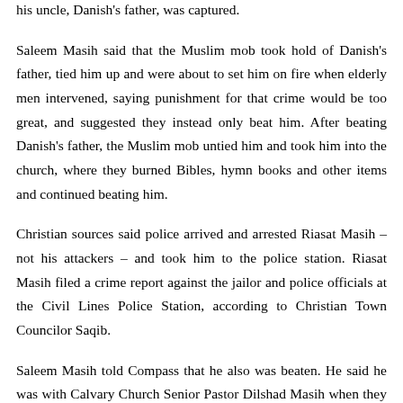his uncle, Danish's father, was captured.
Saleem Masih said that the Muslim mob took hold of Danish's father, tied him up and were about to set him on fire when elderly men intervened, saying punishment for that crime would be too great, and suggested they instead only beat him. After beating Danish's father, the Muslim mob untied him and took him into the church, where they burned Bibles, hymn books and other items and continued beating him.
Christian sources said police arrived and arrested Riasat Masih – not his attackers – and took him to the police station. Riasat Masih filed a crime report against the jailor and police officials at the Civil Lines Police Station, according to Christian Town Councilor Saqib.
Saleem Masih told Compass that he also was beaten. He said he was with Calvary Church Senior Pastor Dilshad Masih when they arrived in the village to find the mob setting church articles on fire and striking it